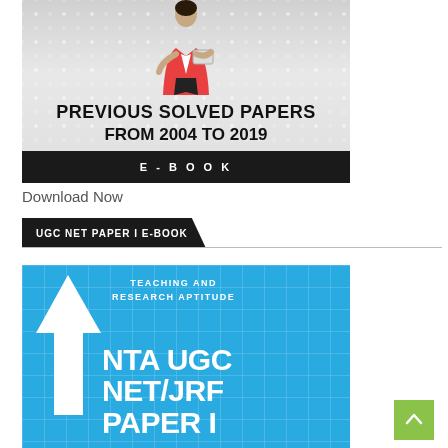[Figure (illustration): E-book cover showing a person in a red jacket holding a tablet, with text 'PREVIOUS SOLVED PAPERS FROM 2004 TO 2019' on a grey background, and a dark bar at the bottom reading 'E-BOOK'. Grey dotted background.]
Download Now
UGC NET PAPER I E-BOOK
[Figure (illustration): Blue book cover with grid background, large white arrow pointing up, text 'TEACHING AND RESEARCH APTITUDE' and large bold text 'NTA UGC NET/JRF PAPER I' in white.]